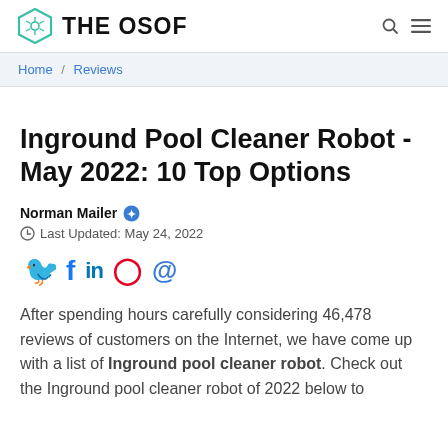THE OSOF
Home / Reviews
Inground Pool Cleaner Robot - May 2022: 10 Top Options
Norman Mailer
Last Updated: May 24, 2022
[Figure (infographic): Social media share icons: Twitter, Facebook, LinkedIn, Pinterest, Email]
After spending hours carefully considering 46,478 reviews of customers on the Internet, we have come up with a list of Inground pool cleaner robot. Check out the Inground pool cleaner robot of 2022 below to